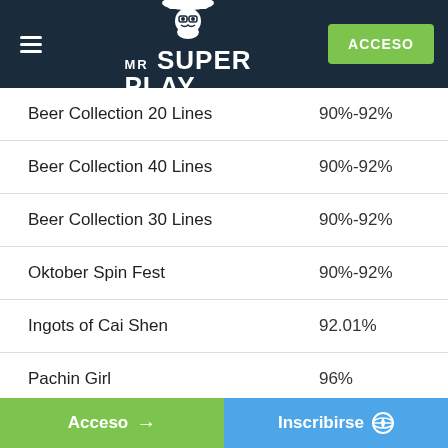Mr Super Play — ACCESO
| Game | RTP |
| --- | --- |
| Beer Collection 20 Lines | 90%-92% |
| Beer Collection 40 Lines | 90%-92% |
| Beer Collection 30 Lines | 90%-92% |
| Oktober Spin Fest | 90%-92% |
| Ingots of Cai Shen | 92.01% |
| Pachin Girl | 96% |
| The Bounty | 92.17% |
Acceso → | Inscribirse